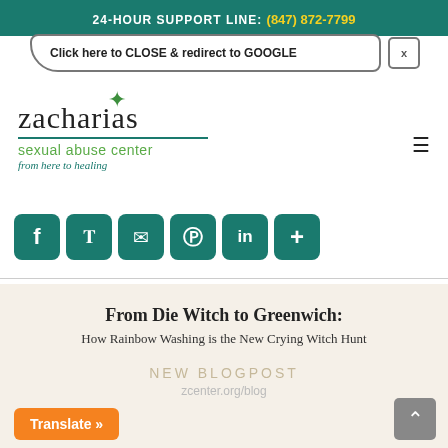24-HOUR SUPPORT LINE: (847) 872-7799
[Figure (screenshot): Popup banner: 'Click here to CLOSE & redirect to GOOGLE' with X close button]
[Figure (logo): Zacharias Sexual Abuse Center logo — 'zacharias' in large serif font, 'sexual abuse center' in teal, 'from here to healing' in green italic, with green leaf icon]
[Figure (infographic): Row of 6 teal social sharing icon buttons: Facebook, Twitter, Email, Pinterest, LinkedIn, More (+)]
From Die Witch to Greenwich:
How Rainbow Washing is the New Crying Witch Hunt
NEW BLOGPOST
zcenter.org/blog